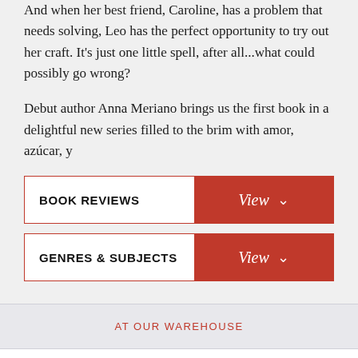And when her best friend, Caroline, has a problem that needs solving, Leo has the perfect opportunity to try out her craft. It's just one little spell, after all...what could possibly go wrong?
Debut author Anna Meriano brings us the first book in a delightful new series filled to the brim with amor, azúcar, y
BOOK REVIEWS View
GENRES & SUBJECTS View
AT OUR WAREHOUSE
$7.99 Paperback New